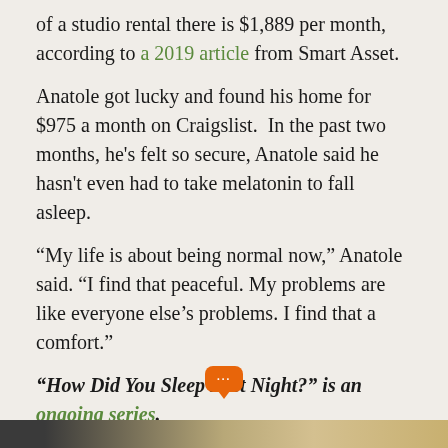of a studio rental there is $1,889 per month, according to a 2019 article from Smart Asset.
Anatole got lucky and found his home for $975 a month on Craigslist.  In the past two months, he's felt so secure, Anatole said he hasn't even had to take melatonin to fall asleep.
“My life is about being normal now,” Anatole said. “I find that peaceful. My problems are like everyone else’s problems. I find that a comfort.”
“How Did You Sleep Last Night?” is an ongoing series.
[Figure (other): Orange chat bubble icon with three dots, indicating comments or conversation.]
[Figure (photo): Dark gradient bar at the bottom of the page, transitioning from dark gray to tan/gold.]